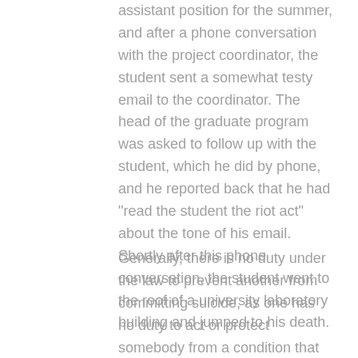assistant position for the summer, and after a phone conversation with the project coordinator, the student sent a somewhat testy email to the coordinator. The head of the graduate program was asked to follow up with the student, which he did by phone, and he reported back that he had "read the student the riot act" about the tone of his email. Shortly after this phone conversation, the student went to the roof of a university laboratory building and jumped to his death.
Generally, there is no duty under the law to prevent another from committing suicide, as one has no duty to act or protect somebody from a condition that that he or she has not created. Yet, a special relationship, such as a